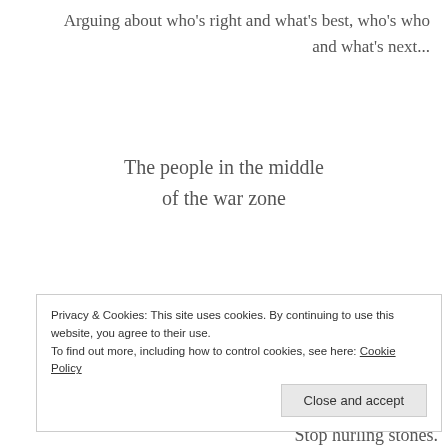Arguing about who's right and what's best, who's who and what's next...
The people in the middle of the war zone
are losing their lives
Hate does not stop hate.  It just causes collateral
Privacy & Cookies: This site uses cookies. By continuing to use this website, you agree to their use.
To find out more, including how to control cookies, see here: Cookie Policy
Close and accept
Stop hurling stones.